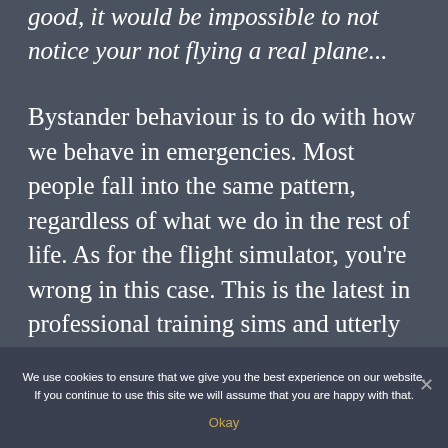good, it would be impossible to not notice your not flying a real plane...
Bystander behaviour is to do with how we behave in emergencies. Most people fall into the same pattern, regardless of what we do in the rest of life. As for the flight simulator, you're wrong in this case. This is the latest in professional training sims and utterly convincing (particularly at the dusk setting which is why we timed the flight at dusk).
We use cookies to ensure that we give you the best experience on our website. If you continue to use this site we will assume that you are happy with that.
Okay